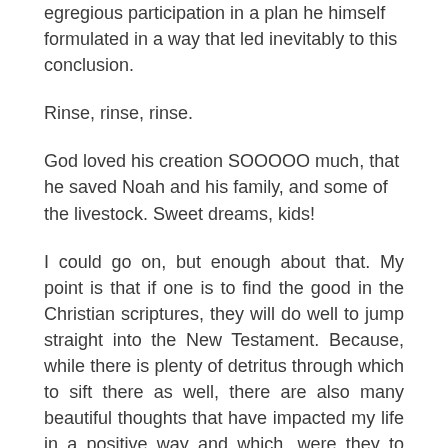egregious participation in a plan he himself formulated in a way that led inevitably to this conclusion.
Rinse, rinse, rinse.
God loved his creation SOOOOO much, that he saved Noah and his family, and some of the livestock. Sweet dreams, kids!
I could go on, but enough about that. My point is that if one is to find the good in the Christian scriptures, they will do well to jump straight into the New Testament. Because, while there is plenty of detritus through which to sift there as well, there are also many beautiful thoughts that have impacted my life in a positive way and which, were they to become a greater focus within Christian congregations, would represent